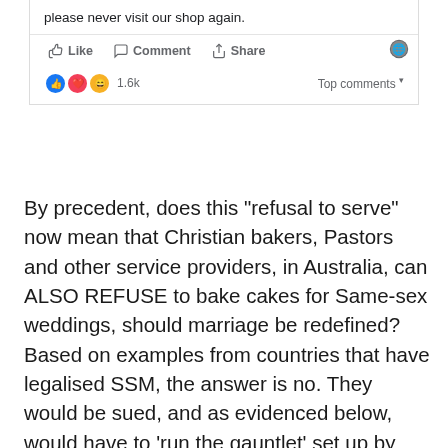[Figure (screenshot): Facebook post screenshot showing action bar with Like, Comment, Share buttons and reaction icons (thumbs up, heart, haha) with 1.6k reactions and Top comments label]
By precedent, does this “refusal to serve” now mean that Christian bakers, Pastors and other service providers, in Australia, can ALSO REFUSE to bake cakes for Same-sex weddings, should marriage be redefined? Based on examples from countries that have legalised SSM, the answer is no. They would be sued, and as evidenced below, would have to ‘run the gauntlet’ set up by social media lynch mobs, as they are smeared, and destroyed for their dissent.